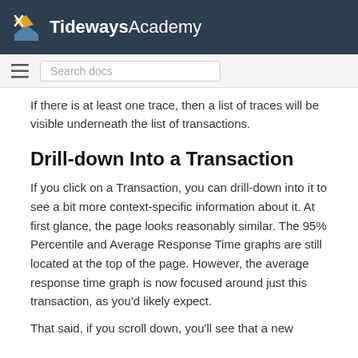Tideways Academy
If there is at least one trace, then a list of traces will be visible underneath the list of transactions.
Drill-down Into a Transaction
If you click on a Transaction, you can drill-down into it to see a bit more context-specific information about it. At first glance, the page looks reasonably similar. The 95% Percentile and Average Response Time graphs are still located at the top of the page. However, the average response time graph is now focused around just this transaction, as you'd likely expect.
That said, if you scroll down, you'll see that a new